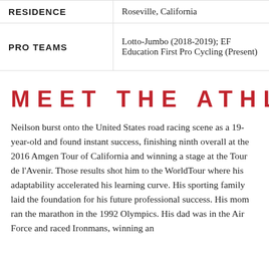| Label | Value |
| --- | --- |
| RESIDENCE | Roseville, California |
| PRO TEAMS | Lotto-Jumbo (2018-2019); EF Education First Pro Cycling (Present) |
MEET THE ATHLETE
Neilson burst onto the United States road racing scene as a 19-year-old and found instant success, finishing ninth overall at the 2016 Amgen Tour of California and winning a stage at the Tour de l'Avenir. Those results shot him to the WorldTour where his adaptability accelerated his learning curve. His sporting family laid the foundation for his future professional success. His mom ran the marathon in the 1992 Olympics. His dad was in the Air Force and raced Ironmans, winning an